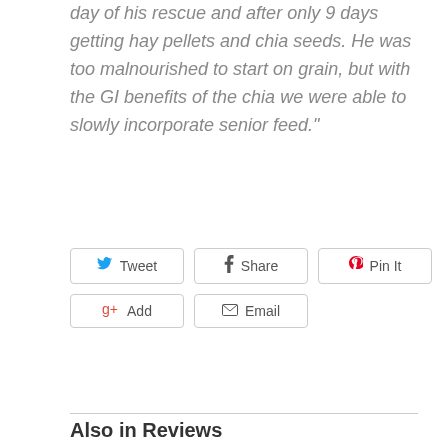day of his rescue and after only 9 days getting hay pellets and chia seeds. He was too malnourished to start on grain, but with the GI benefits of the chia we were able to slowly incorporate senior feed."
[Figure (other): Social sharing buttons: Tweet (Twitter), Share (Facebook), Pin It (Pinterest), Add (Google+), Email]
Also in Reviews